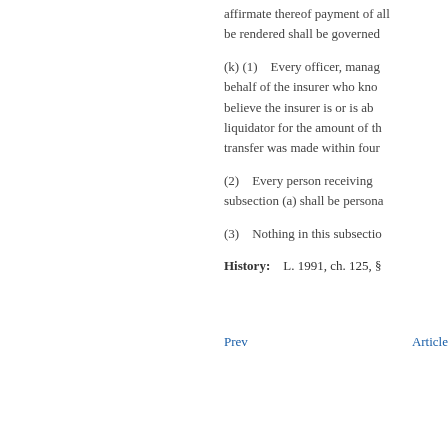affirmate thereof payment of all... be rendered shall be governed
(k) (1) Every officer, manag... behalf of the insurer who kno... believe the insurer is or is ab... liquidator for the amount of th... transfer was made within four
(2) Every person receiving ... subsection (a) shall be persona
(3) Nothing in this subsectio
History: L. 1991, ch. 125, §
Prev    Article
2022. Powered by KLISS. Rendered: